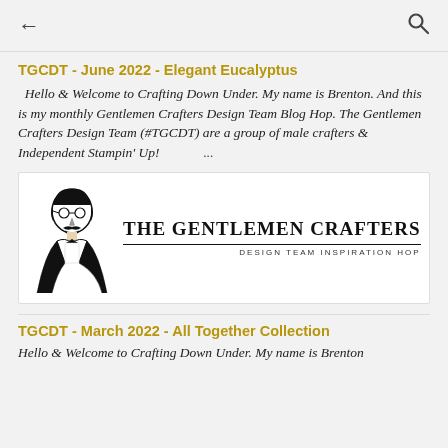← [back arrow]  [search icon]
TGCDT - June 2022 - Elegant Eucalyptus
Hello & Welcome to Crafting Down Under. My name is Brenton. And this is my monthly Gentlemen Crafters Design Team Blog Hop. The Gentlemen Crafters Design Team (#TGCDT) are a group of male crafters & Independent Stampin' Up! ...
[Figure (logo): The Gentlemen Crafters Design Team Inspiration Hop logo with illustrated gentleman portrait on the left and bold serif text on the right]
TGCDT - March 2022 - All Together Collection
Hello & Welcome to Crafting Down Under. My name is Brenton